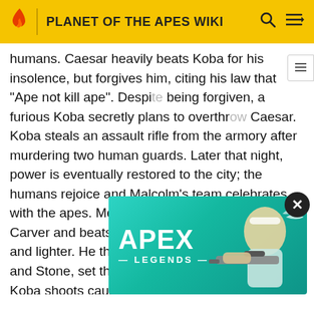PLANET OF THE APES WIKI
humans. Caesar heavily beats Koba for his insolence, but forgives him, citing his law that "Ape not kill ape". Despite being forgiven, a furious Koba secretly plans to overthrow Caesar. Koba steals an assault rifle from the armory after murdering two human guards. Later that night, power is eventually restored to the city; the humans rejoice and Malcolm's team celebrates with the apes. Meanwhile, Koba ambushes Carver and beats him to death, stealing his hat and lighter. He then has his two henchapes, Grey and Stone, set the apes' home on fire. In hiding, Koba shoots causing pes up in flames of their Ap gun
[Figure (screenshot): Apex Legends advertisement banner with teal/green background showing a character holding a sniper rifle]